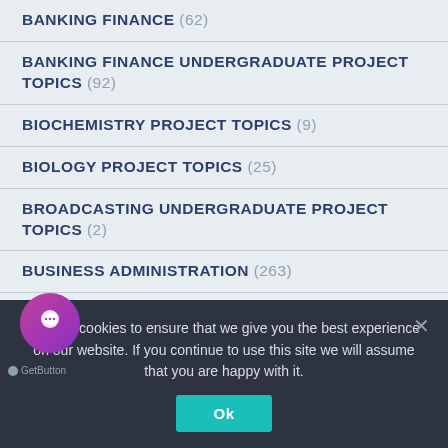BANKING FINANCE (62)
BANKING FINANCE UNDERGRADUATE PROJECT TOPICS (92)
BIOCHEMISTRY PROJECT TOPICS (9)
BIOLOGY PROJECT TOPICS (25)
BROADCASTING UNDERGRADUATE PROJECT TOPICS (2)
BUSINESS ADMINISTRATION (263)
BUSINESS ADMINISTRATION UNDERGRADUATE PROJECT TOPICS (372)
BUSINESS EDUCATION UNDERGRADUATE PROJECT TOPICS
We use cookies to ensure that we give you the best experience on our website. If you continue to use this site we will assume that you are happy with it.